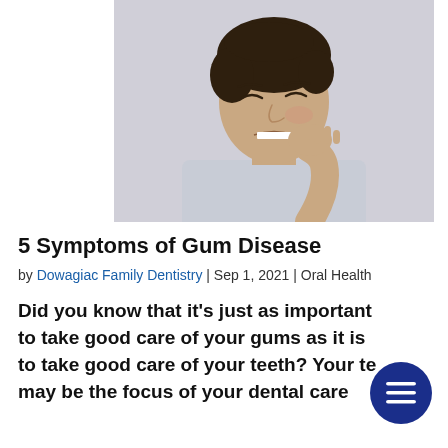[Figure (photo): A man with dark hair wearing a light grey long-sleeve shirt, wincing in pain and holding his hand against his cheek/jaw, against a light grey background.]
5 Symptoms of Gum Disease
by Dowagiac Family Dentistry | Sep 1, 2021 | Oral Health
Did you know that it's just as important to take good care of your gums as it is to take good care of your teeth? Your te may be the focus of your dental care